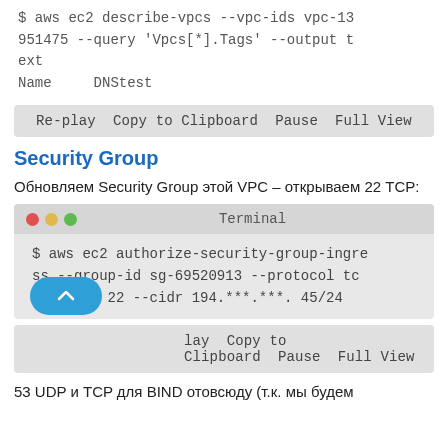$ aws ec2 describe-vpcs --vpc-ids vpc-13951475 --query 'Vpcs[*].Tags' --output text
Name      DNStest
[Figure (screenshot): Replay bar with buttons: Re-play, Copy to Clipboard, Pause, Full View]
Security Group
Обновляем Security Group этой VPC – открываем 22 TCP:
[Figure (screenshot): Terminal window with title 'Terminal' and red/yellow/green dots. Command: $ aws ec2 authorize-security-group-ingress --group-id sg-69520913 --protocol tcp --port 22 --cidr 194.***.***. 45/24]
[Figure (screenshot): Replay bar with buttons: Re-play, Copy to Clipboard, Pause, Full View (partially obscured by scroll button)]
53 UDP и TCP для BIND отовсюду (т.к. мы будем